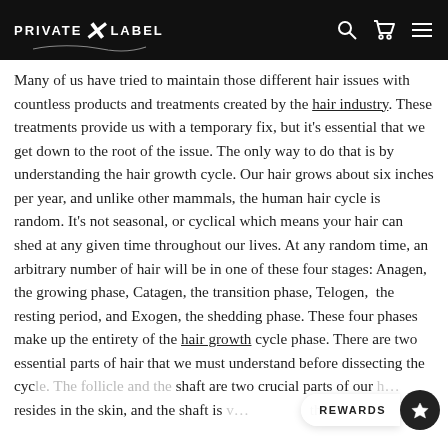PRIVATE X LABEL
Many of us have tried to maintain those different hair issues with countless products and treatments created by the hair industry. These treatments provide us with a temporary fix, but it's essential that we get down to the root of the issue. The only way to do that is by understanding the hair growth cycle. Our hair grows about six inches per year, and unlike other mammals, the human hair cycle is random. It's not seasonal, or cyclical which means your hair can shed at any given time throughout our lives. At any random time, an arbitrary number of hair will be in one of these four stages: Anagen, the growing phase, Catagen, the transition phase, Telogen, the resting period, and Exogen, the shedding phase. These four phases make up the entirety of the hair growth cycle phase. There are two essential parts of hair that we must understand before dissecting the cycle. The follicle and the shaft are two crucial parts of our … resides in the skin, and the shaft is … the …